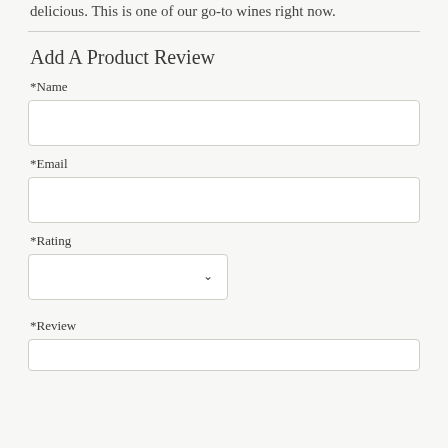delicious. This is one of our go-to wines right now.
Add A Product Review
*Name
*Email
*Rating
*Review